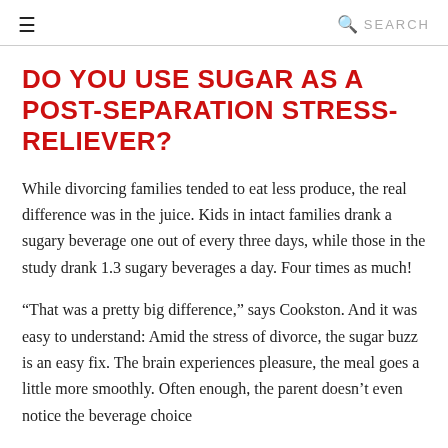≡   SEARCH
DO YOU USE SUGAR AS A POST-SEPARATION STRESS-RELIEVER?
While divorcing families tended to eat less produce, the real difference was in the juice. Kids in intact families drank a sugary beverage one out of every three days, while those in the study drank 1.3 sugary beverages a day. Four times as much!
“That was a pretty big difference,” says Cookston. And it was easy to understand: Amid the stress of divorce, the sugar buzz is an easy fix. The brain experiences pleasure, the meal goes a little more smoothly. Often enough, the parent doesn’t even notice the beverage choice